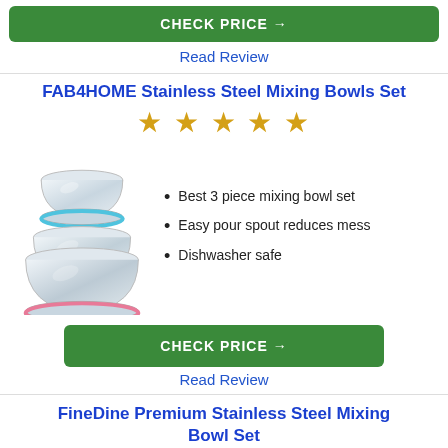[Figure (other): Green CHECK PRICE button (partially visible at top)]
Read Review
FAB4HOME Stainless Steel Mixing Bowls Set
[Figure (other): 4.5 star rating shown with gold stars]
[Figure (photo): Stack of three stainless steel mixing bowls with colored rims (blue, yellow, pink)]
Best 3 piece mixing bowl set
Easy pour spout reduces mess
Dishwasher safe
[Figure (other): Green CHECK PRICE button]
Read Review
FineDine Premium Stainless Steel Mixing Bowl Set